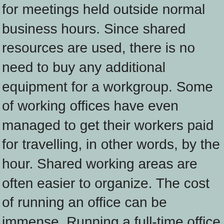for meetings held outside normal business hours. Since shared resources are used, there is no need to buy any additional equipment for a workgroup. Some of working offices have even managed to get their workers paid for travelling, in other words, by the hour. Shared working areas are often easier to organize. The cost of running an office can be immense. Running a full-time office -or a part-time office-is a major undertaking, which often requires high security clearances, expensive rent, high electricity bills, high maintenance costs, heavy equipments, high rents, etc. So the cost of the whole setup can often add up to a significant chunk of the company's capital